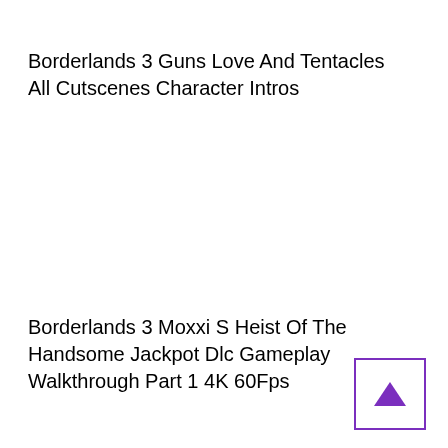Borderlands 3 Guns Love And Tentacles All Cutscenes Character Intros
Borderlands 3 Moxxi S Heist Of The Handsome Jackpot Dlc Gameplay Walkthrough Part 1 4K 60Fps
[Figure (other): Purple triangle/arrow pointing up inside a purple-bordered square box]